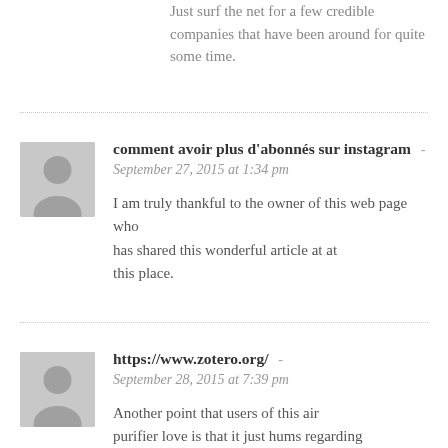Just surf the net for a few credible companies that have been around for quite some time.
comment avoir plus d'abonnés sur instagram - September 27, 2015 at 1:34 pm
I am truly thankful to the owner of this web page who has shared this wonderful article at at this place.
https://www.zotero.org/ - September 28, 2015 at 7:39 pm
Another point that users of this air purifier love is that it just hums regarding